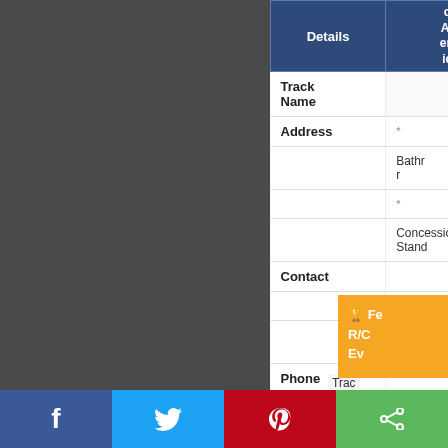| Track Details | Track Amenities |
| --- | --- |
| Track Name | e R/C ay |
| Address | * | * |
|  | Bathrooms | Ca Al |
|  | * | * |
|  | Concession Stand | El |
| Contact |  |
|  | * Laps | * |
|  | Counting System | Tr |
| Phone |  |
|  | * Outdoor Offroad | * |
|  | Next Level RC |
| Website |  |
| Hobby |  |
[Figure (other): Orange trophy/event popup overlay showing 'Fe R/C Ev']
[Figure (other): Blue text popup overlay showing 'The Next Level Fall Classic 94' with link styling]
[Figure (other): Social sharing bar with Facebook, Twitter, Pinterest, and Share buttons at bottom of page]